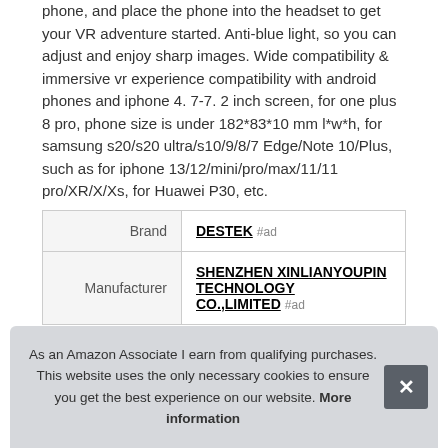phone, and place the phone into the headset to get your VR adventure started. Anti-blue light, so you can adjust and enjoy sharp images. Wide compatibility & immersive vr experience compatibility with android phones and iphone 4. 7-7. 2 inch screen, for one plus 8 pro, phone size is under 182*83*10 mm l*w*h, for samsung s20/s20 ultra/s10/9/8/7 Edge/Note 10/Plus, such as for iphone 13/12/mini/pro/max/11/11 pro/XR/X/Xs, for Huawei P30, etc.
|  |  |
| --- | --- |
| Brand | DESTEK #ad |
| Manufacturer | SHENZHEN XINLIANYOUPIN TECHNOLOGY CO.,LIMITED #ad |
As an Amazon Associate I earn from qualifying purchases. This website uses the only necessary cookies to ensure you get the best experience on our website. More information